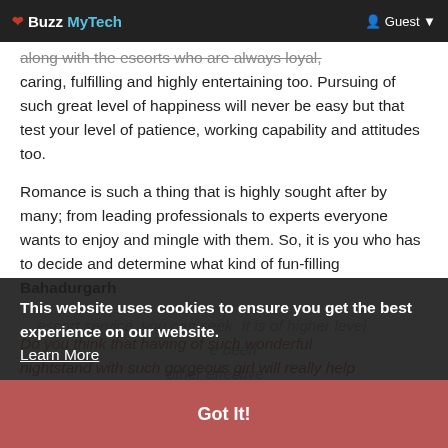❤ Buzz MyTech   👤 Guest ▾
along with the escorts who are always loyal, caring, fulfilling and highly entertaining too. Pursuing of such great level of happiness will never be easy but that test your level of patience, working capability and attitudes too.
Romance is such a thing that is highly sought after by many; from leading professionals to experts everyone wants to enjoy and mingle with them. So, it is you who has to decide and determine what kind of fun-filling Bahadurgarh escort service you can seek. It is of higher level ... have been ... other effective ... that you can initiate and you must truly find your valuable entertainment and encouragement.
This website uses cookies to ensure you get the best experience on our website. Learn More
Got It!
Do you think that having of such wonderful nightstand with such gorgeous girl will really help